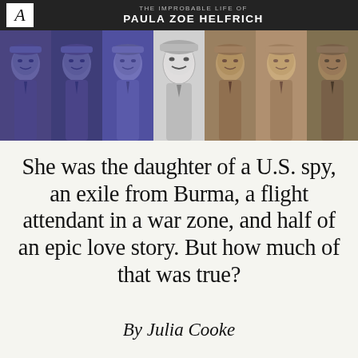THE IMPROBABLE LIFE OF PAULA ZOE HELFRICH
[Figure (photo): A repeated stylized portrait of a woman wearing a military-style cap, shown seven times across a horizontal strip. Three versions on the left are tinted purple/blue, one center version is in black and white (original photo), and three on the right are tinted tan/brown/sepia tones.]
She was the daughter of a U.S. spy, an exile from Burma, a flight attendant in a war zone, and half of an epic love story. But how much of that was true?
By Julia Cooke